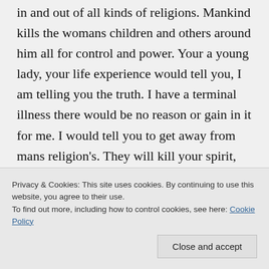in and out of all kinds of religions. Mankind kills the womans children and others around him all for control and power. Your a young lady, your life experience would tell you, I am telling you the truth. I have a terminal illness there would be no reason or gain in it for me. I would tell you to get away from mans religion's. They will kill your spirit, your the mother of the living one not
Privacy & Cookies: This site uses cookies. By continuing to use this website, you agree to their use.
To find out more, including how to control cookies, see here: Cookie Policy
is good the other one is evil, the